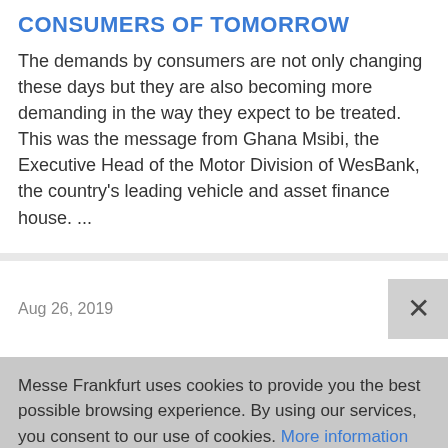CONSUMERS OF TOMORROW
The demands by consumers are not only changing these days but they are also becoming more demanding in the way they expect to be treated. This was the message from Ghana Msibi, the Executive Head of the Motor Division of WesBank, the country's leading vehicle and asset finance house. ...
Aug 26, 2019
Messe Frankfurt uses cookies to provide you the best possible browsing experience. By using our services, you consent to our use of cookies. More information